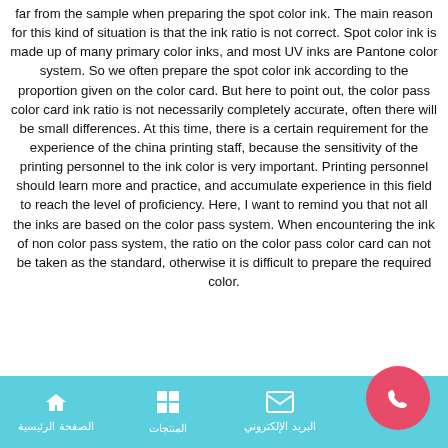far from the sample when preparing the spot color ink. The main reason for this kind of situation is that the ink ratio is not correct. Spot color ink is made up of many primary color inks, and most UV inks are Pantone color system. So we often prepare the spot color ink according to the proportion given on the color card. But here to point out, the color pass color card ink ratio is not necessarily completely accurate, often there will be small differences. At this time, there is a certain requirement for the experience of the china printing staff, because the sensitivity of the printing personnel to the ink color is very important. Printing personnel should learn more and practice, and accumulate experience in this field to reach the level of proficiency. Here, I want to remind you that not all the inks are based on the color pass system. When encountering the ink of non color pass system, the ratio on the color pass color card can not be taken as the standard, otherwise it is difficult to prepare the required color.
الصفحة الرئيسية | المنتجات | البريد الإلكتروني | الهاتف